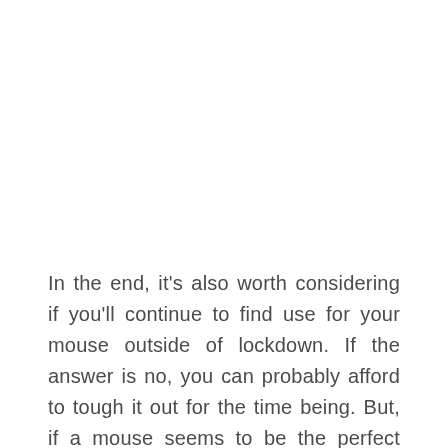In the end, it's also worth considering if you'll continue to find use for your mouse outside of lockdown. If the answer is no, you can probably afford to tough it out for the time being. But, if a mouse seems to be the perfect solution for you, then we'd recommend buying yourself one ASAP!